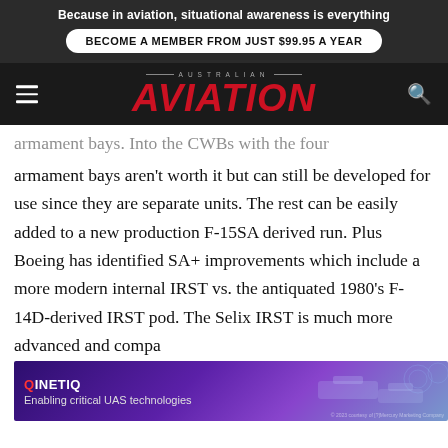Because in aviation, situational awareness is everything
BECOME A MEMBER FROM JUST $99.95 A YEAR
[Figure (logo): Australian Aviation magazine logo with red italic AVIATION text on dark background, hamburger menu left, search icon right]
armament bays. Into the CWBs with the four armament bays aren't worth it but can still be developed for use since they are separate units. The rest can be easily added to a new production F-15SA derived run. Plus Boeing has identified SA+ improvements which include a more modern internal IRST vs. the antiquated 1980's F-14D-derived IRST pod. The Selix IRST is much more advanced and compa…
In add… as in
[Figure (screenshot): QinetiQ advertisement banner: 'Enabling critical UAS technologies' with purple/violet gradient background and vehicle imagery on right]